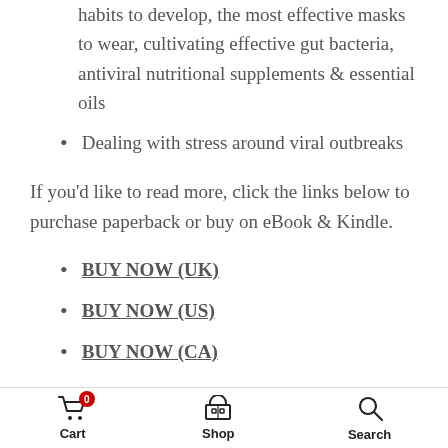habits to develop, the most effective masks to wear, cultivating effective gut bacteria, antiviral nutritional supplements & essential oils
Dealing with stress around viral outbreaks
If you'd like to read more, click the links below to purchase paperback or buy on eBook & Kindle.
BUY NOW (UK)
BUY NOW (US)
BUY NOW (CA)
To download a copy of Sara's guide with Sönd on Holistic Skincare, click here.
Cart  Shop  Search